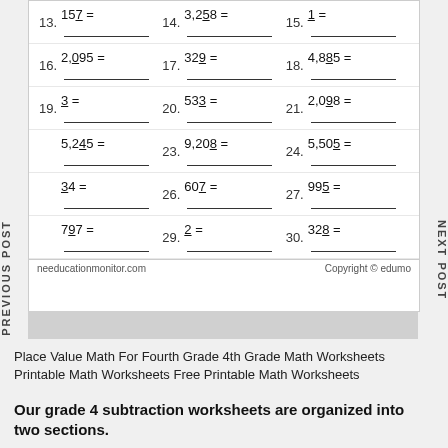13. 157 =   14. 3,258 =   15. 1 =
16. 2,095 =   17. 329 =   18. 4,885 =
19. 3 =   20. 533 =   21. 2,098 =
5,245 =   23. 9,208 =   24. 5,505 =
34 =   26. 607 =   27. 995 =
797 =   29. 2 =   30. 328 =
needucationmonitor.com   Copyright © edumo
PREVIOUS POST
NEXT POST
Place Value Math For Fourth Grade 4th Grade Math Worksheets Printable Math Worksheets Free Printable Math Worksheets
Our grade 4 subtraction worksheets are organized into two sections.